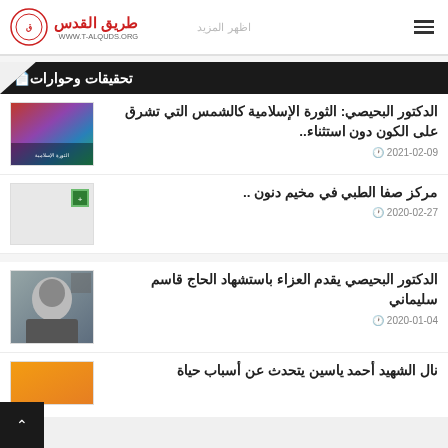طريق القدس - WWW.T-ALQUDS.ORG
تحقيقات وحوارات
الدكتور البحيصي: الثورة الإسلامية كالشمس التي تشرق على الكون دون استثناء..
2021-02-09
مركز صفا الطبي في مخيم دنون ..
2020-02-27
الدكتور البحيصي يقدم العزاء باستشهاد الحاج قاسم سليماني
2020-01-04
نال الشهيد أحمد ياسين يتحدث عن أسباب حياة